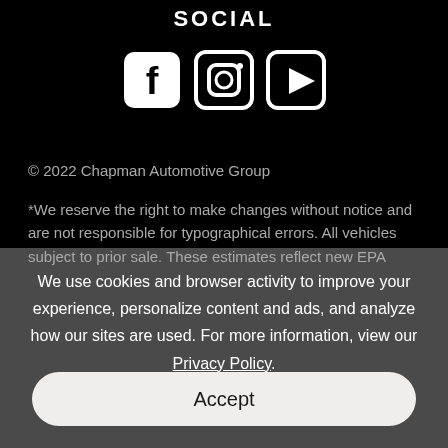SOCIAL
[Figure (illustration): Three social media icons: Facebook (f), Instagram (camera in circle), YouTube (play button triangle)]
© 2022 Chapman Automotive Group
*We reserve the right to make changes without notice and are not responsible for typographical errors. All vehicles subject to prior sale. These estimates reflect new EPA
We use cookies and browser activity to improve your experience, personalize content and ads, and analyze how our sites are used. For more information, view our Privacy Policy.
Accept